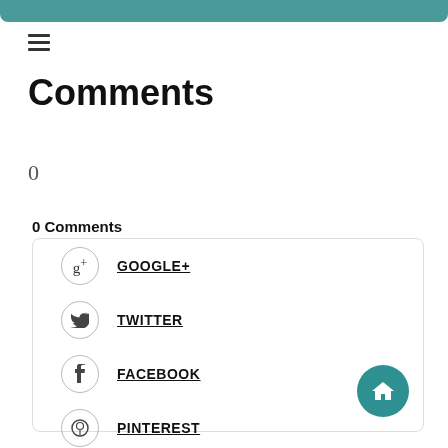Comments
0
0 Comments
GOOGLE+
TWITTER
FACEBOOK
PINTEREST